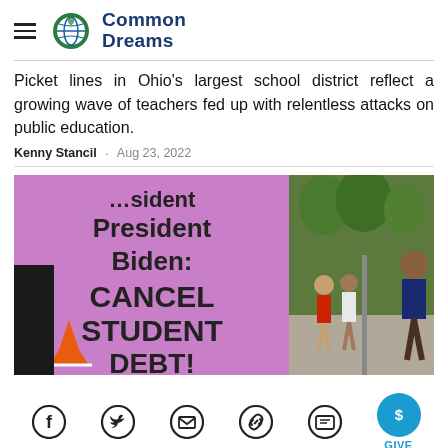Common Dreams
Picket lines in Ohio's largest school district reflect a growing wave of teachers fed up with relentless attacks on public education.
Kenny Stancil · Aug 23, 2022
[Figure (photo): A protest sign reading 'President Biden: CANCEL STUDENT DEBT!' on a purple/pink background, alongside a crowd of people walking on a street with trees in the background.]
Social sharing icons: Facebook, Twitter, Email, Link, Comment, Give